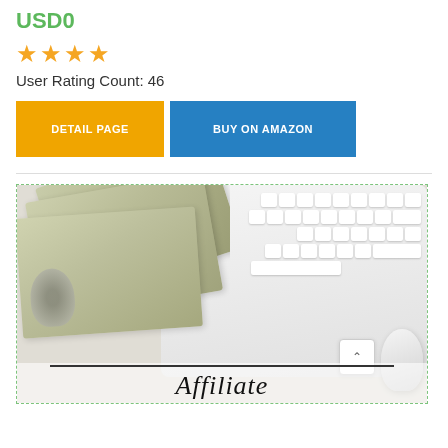USD0
★★★★
User Rating Count: 46
DETAIL PAGE | BUY ON AMAZON
[Figure (photo): Photo of US $100 dollar bills fanned out on a white keyboard with a computer mouse, and the word 'Affiliate' in italic serif font at the bottom of the image.]